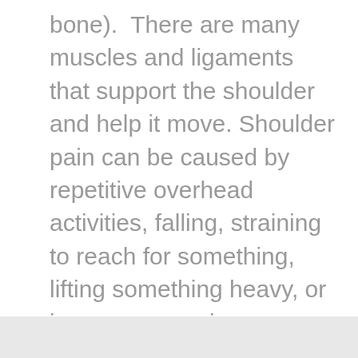bone).  There are many muscles and ligaments that support the shoulder and help it move. Shoulder pain can be caused by repetitive overhead activities, falling, straining to reach for something, lifting something heavy, or improper exercise techniques. Other times, shoulder pain can occur for no apparent reason.